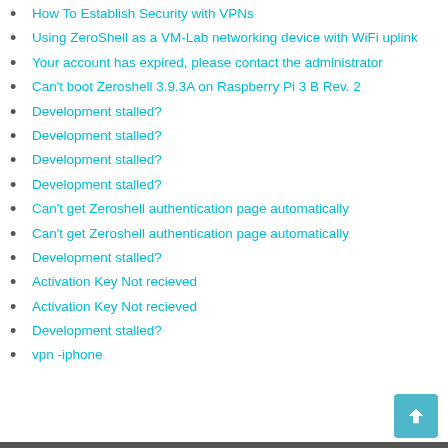How To Establish Security with VPNs
Using ZeroShell as a VM-Lab networking device with WiFi uplink
Your account has expired, please contact the administrator
Can't boot Zeroshell 3.9.3A on Raspberry Pi 3 B Rev. 2
Development stalled?
Development stalled?
Development stalled?
Development stalled?
Can't get Zeroshell authentication page automatically
Can't get Zeroshell authentication page automatically
Development stalled?
Activation Key Not recieved
Activation Key Not recieved
Development stalled?
vpn -iphone